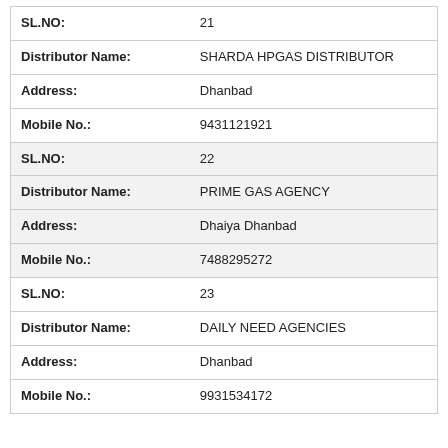| Field | Value |
| --- | --- |
| SL.NO: | 21 |
| Distributor Name: | SHARDA HPGAS DISTRIBUTOR |
| Address: | Dhanbad |
| Mobile No.: | 9431121921 |
| SL.NO: | 22 |
| Distributor Name: | PRIME GAS AGENCY |
| Address: | Dhaiya Dhanbad |
| Mobile No.: | 7488295272 |
| SL.NO: | 23 |
| Distributor Name: | DAILY NEED AGENCIES |
| Address: | Dhanbad |
| Mobile No.: | 9931534172 |